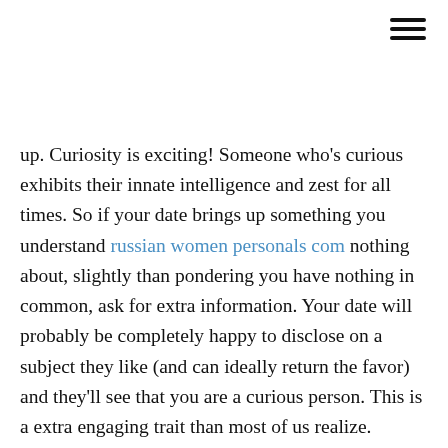[Figure (other): Hamburger menu icon (three horizontal lines) in top right corner]
up. Curiosity is exciting! Someone who's curious exhibits their innate intelligence and zest for all times. So if your date brings up something you understand russian women personals com nothing about, slightly than pondering you have nothing in common, ask for extra information. Your date will probably be completely happy to disclose on a subject they like (and can ideally return the favor) and they'll see that you are a curious person. This is a extra engaging trait than most of us realize.
Finally, right here is the step where all the benefits of a good dating script turn into evident. SkaDate Dating Software is not only a simple pack of features that lets russian women personals com you start dating websites but is an precise and environment friendly dating